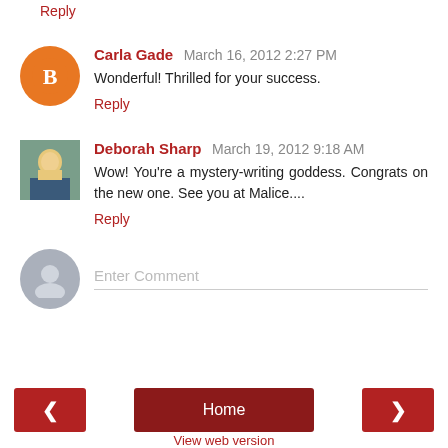Reply
Carla Gade  March 16, 2012 2:27 PM
Wonderful! Thrilled for your success.
Reply
Deborah Sharp  March 19, 2012 9:18 AM
Wow! You're a mystery-writing goddess. Congrats on the new one. See you at Malice....
Reply
Enter Comment
Home
View web version